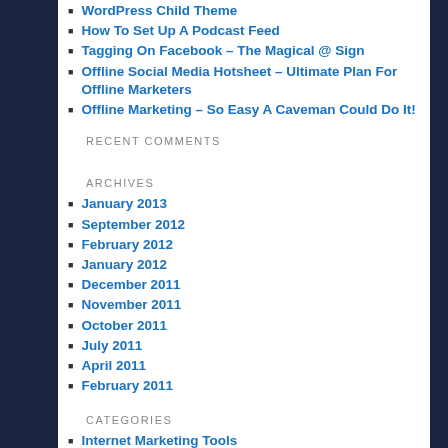WordPress Child Theme
How To Set Up A Podcast Feed
Tagging On Facebook – The Magical @ Sign
Offline Social Media Hotsheet – Ultimate Plan For Offline Marketers
Offline Marketing – So Easy A Caveman Could Do It!
RECENT COMMENTS
ARCHIVES
January 2013
September 2012
February 2012
January 2012
December 2011
November 2011
October 2011
July 2011
April 2011
February 2011
CATEGORIES
Internet Marketing Tools
Success Motivators
SUCCESS BUILDERS
Additional Resources